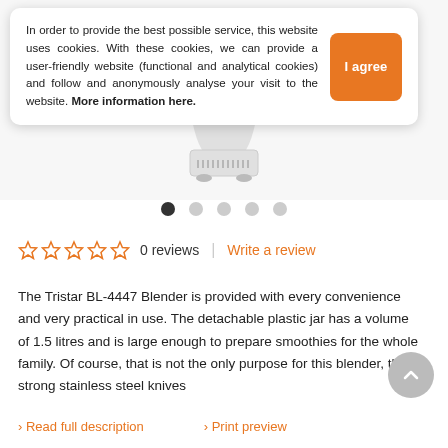[Figure (photo): Tristar BL-4447 blender product photo on white background]
In order to provide the best possible service, this website uses cookies. With these cookies, we can provide a user-friendly website (functional and analytical cookies) and follow and anonymously analyse your visit to the website. More information here.
I agree
0 reviews | Write a review
The Tristar BL-4447 Blender is provided with every convenience and very practical in use. The detachable plastic jar has a volume of 1.5 litres and is large enough to prepare smoothies for the whole family. Of course, that is not the only purpose for this blender, the strong stainless steel knives
Read full description
Print preview